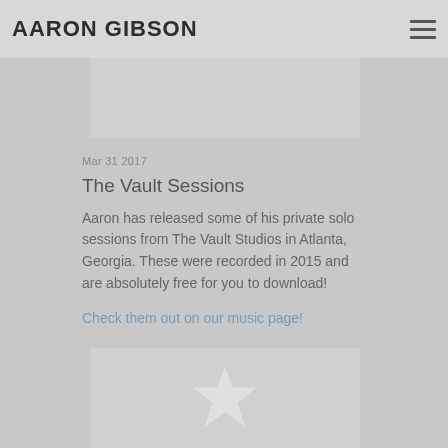AARON GIBSON
[Figure (photo): Partial image visible at top, cropped, gray placeholder]
Mar 31 2017
The Vault Sessions
Aaron has released some of his private solo sessions from The Vault Studios in Atlanta, Georgia. These were recorded in 2015 and are absolutely free for you to download!
Check them out on our music page!
[Figure (photo): Partial image visible at bottom with star shape, cropped, gray placeholder]